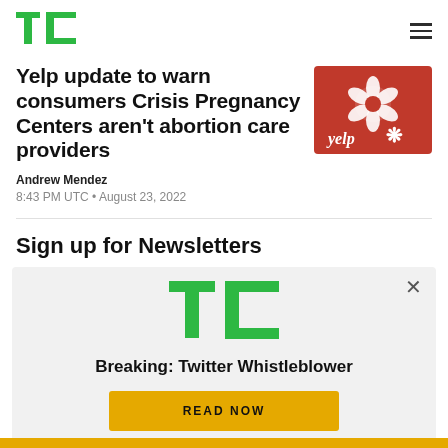TechCrunch logo and navigation menu
Yelp update to warn consumers Crisis Pregnancy Centers aren't abortion care providers
Andrew Mendez
8:43 PM UTC • August 23, 2022
[Figure (photo): Yelp app logo on a red background showing the Yelp flower icon and wordmark]
Sign up for Newsletters
[Figure (logo): TechCrunch TC logo in green]
Breaking: Twitter Whistleblower
READ NOW